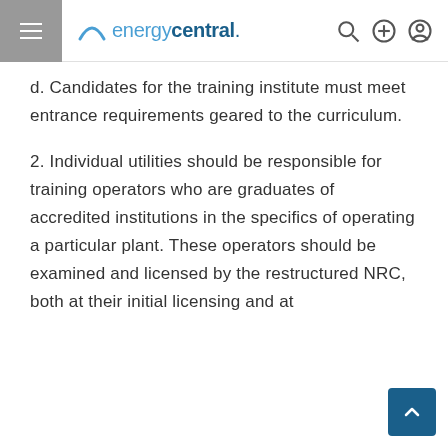energycentral.
d. Candidates for the training institute must meet entrance requirements geared to the curriculum.
2. Individual utilities should be responsible for training operators who are graduates of accredited institutions in the specifics of operating a particular plant. These operators should be examined and licensed by the restructured NRC, both at their initial licensing and at